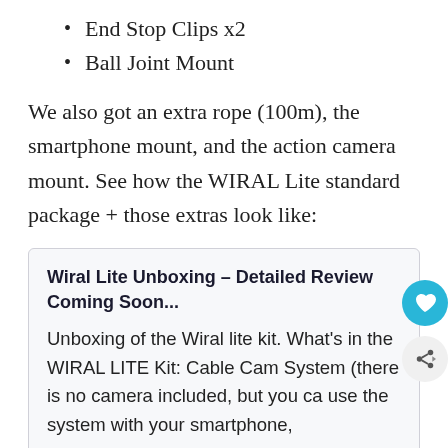End Stop Clips x2
Ball Joint Mount
We also got an extra rope (100m), the smartphone mount, and the action camera mount. See how the WIRAL Lite standard package + those extras look like:
Wiral Lite Unboxing – Detailed Review Coming Soon...
Unboxing of the Wiral lite kit. What's in the WIRAL LITE Kit: Cable Cam System (there is no camera included, but you can use the system with your smartphone,